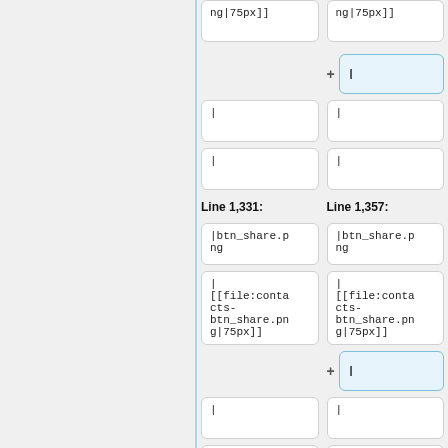ng|75px]]
ng|75px]]
|
|
|
|
Line 1,331:
Line 1,357:
|btn_share.png
|btn_share.png
|
[[file:contacts-btn_share.png|75px]]
|
[[file:contacts-btn_share.png|75px]]
|
|
|
|
|
|